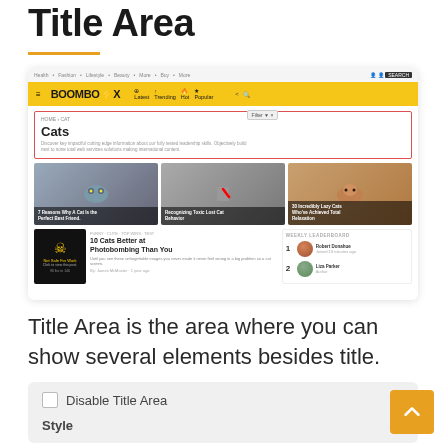Title Area
[Figure (screenshot): Screenshot of the BoomBox WordPress theme showing a category page for 'Cats' with a highlighted title area outlined in red/pink, navigation bar, article image cards, and weekly leaderboard]
Title Area is the area where you can show several elements besides title.
| Disable Title Area |
| Style |